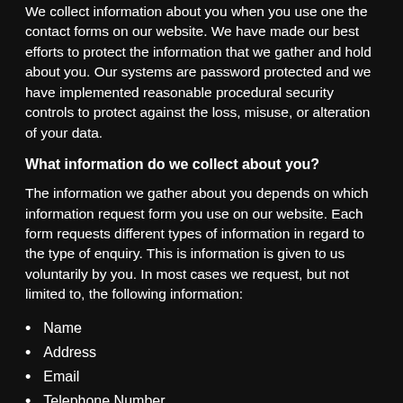We collect information about you when you use one the contact forms on our website. We have made our best efforts to protect the information that we gather and hold about you. Our systems are password protected and we have implemented reasonable procedural security controls to protect against the loss, misuse, or alteration of your data.
What information do we collect about you?
The information we gather about you depends on which information request form you use on our website. Each form requests different types of information in regard to the type of enquiry. This is information is given to us voluntarily by you. In most cases we request, but not limited to, the following information:
Name
Address
Email
Telephone Number
How will we use the information about you?